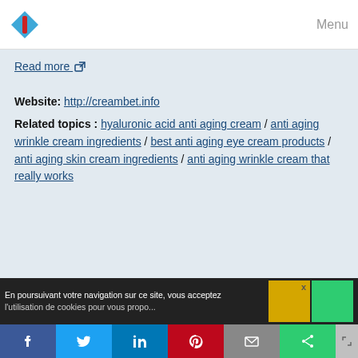Menu
Read more [external link icon]
Website: http://creambet.info
Related topics : hyaluronic acid anti aging cream / anti aging wrinkle cream ingredients / best anti aging eye cream products / anti aging skin cream ingredients / anti aging wrinkle cream that really works
En poursuivant votre navigation sur ce site, vous acceptez l'utilisation de cookies pour vous propo...